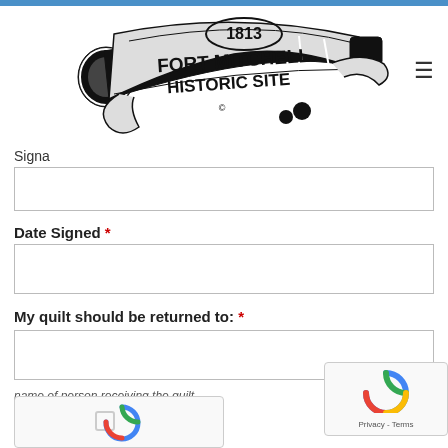[Figure (logo): Fort Mitchell Historic Site logo — 1813 cannon with stylized banner text]
Signa
Date Signed *
My quilt should be returned to: *
name of person receiving the quilt